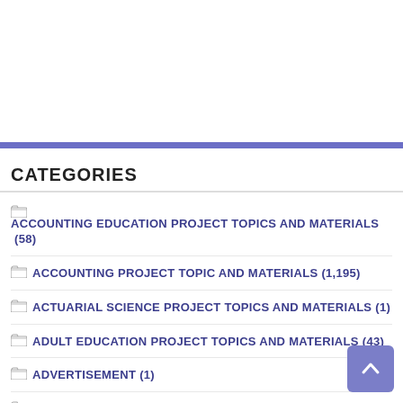CATEGORIES
ACCOUNTING EDUCATION PROJECT TOPICS AND MATERIALS (58)
ACCOUNTING PROJECT TOPIC AND MATERIALS (1,195)
ACTUARIAL SCIENCE PROJECT TOPICS AND MATERIALS (1)
ADULT EDUCATION PROJECT TOPICS AND MATERIALS (43)
ADVERTISEMENT (1)
AFRICAN LANGUAGES PROJECT TOPICS AND MATERIALS (7)
AGRICULTURAL ENGINEERING PROJECT TOPICS AND